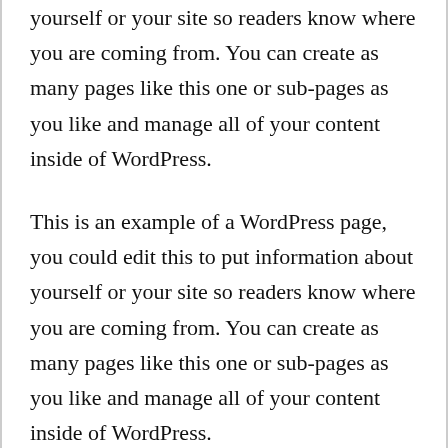yourself or your site so readers know where you are coming from. You can create as many pages like this one or sub-pages as you like and manage all of your content inside of WordPress.
This is an example of a WordPress page, you could edit this to put information about yourself or your site so readers know where you are coming from. You can create as many pages like this one or sub-pages as you like and manage all of your content inside of WordPress.
This is an example of a WordPress page, you could edit this to put information about yourself or your site so readers know where you are coming from. You can create as many pages